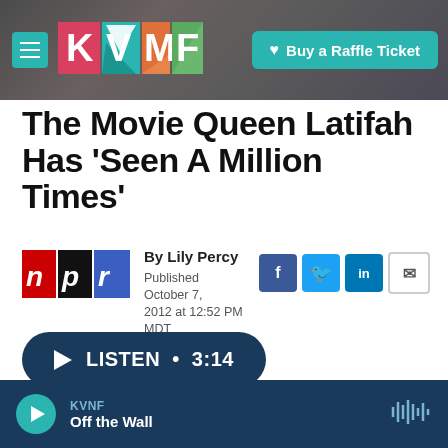KVNF Buy a Raffle Ticket
The Movie Queen Latifah Has 'Seen A Million Times'
By Lily Percy
Published October 7, 2012 at 12:52 PM MDT
LISTEN • 3:14
KVNF Off the Wall